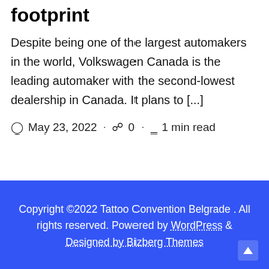footprint
Despite being one of the largest automakers in the world, Volkswagen Canada is the leading automaker with the second-lowest dealership in Canada. It plans to [...]
May 23, 2022 · 0 · 1 min read
Copyright ©2022 Tattoo Convention Belgrade . All rights reserved. Powered by WordPress & Designed by Bizberg Themes